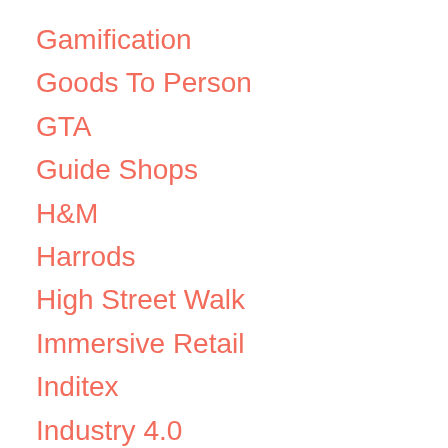Gamification
Goods To Person
GTA
Guide Shops
H&M
Harrods
High Street Walk
Immersive Retail
Inditex
Industry 4.0
Innovation
Intel
Interior
IOT